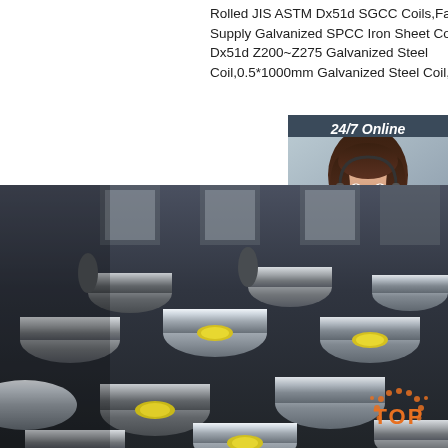Rolled JIS ASTM Dx51d SGCC Coils,Factory Direct Supply Galvanized SPCC Iron Sheet Coil Price Dx51d Z200~Z275 Galvanized Steel Coil,0.5*1000mm Galvanized Steel Coil,SGCC ...
[Figure (other): Green 'Get Price' button]
[Figure (photo): Customer service representative with headset, 24/7 Online banner, 'Click here for free chat!' text, orange QUOTATION button, dark blue sidebar background]
[Figure (photo): Large photo of stacked steel round bars/rods in an industrial warehouse setting with yellow end labels visible]
[Figure (logo): Orange dotted 'TOP' badge in bottom right corner]